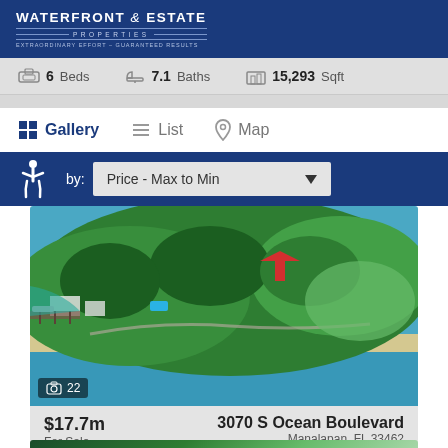WATERFRONT & ESTATE PROPERTIES — EXTRAORDINARY EFFORT — GUARANTEED RESULTS
6 Beds  7.1 Baths  15,293 Sqft
Gallery  List  Map
Sort by: Price - Max to Min
[Figure (photo): Aerial view of waterfront property at 3070 S Ocean Boulevard, Manalapan, FL — lush tropical vegetation, beach, and ocean visible. Red arrow annotation pointing to the property.]
$17.7m
For Sale
3070 S Ocean Boulevard
Manalapan, FL 33462
3 Beds  3 Baths  1,880 Sqft
[Figure (photo): Partial aerial view of second waterfront property listing (bottom of page, partially visible).]